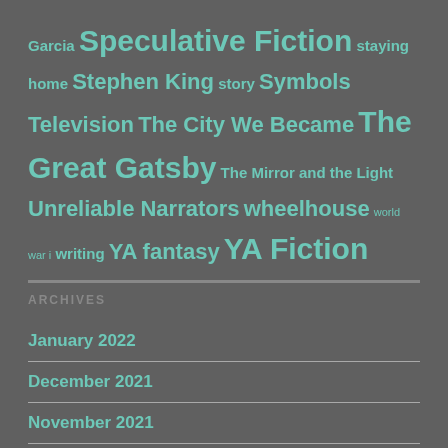Garcia Speculative Fiction staying home Stephen King story Symbols Television The City We Became The Great Gatsby The Mirror and the Light Unreliable Narrators wheelhouse world war i writing YA fantasy YA Fiction
ARCHIVES
January 2022
December 2021
November 2021